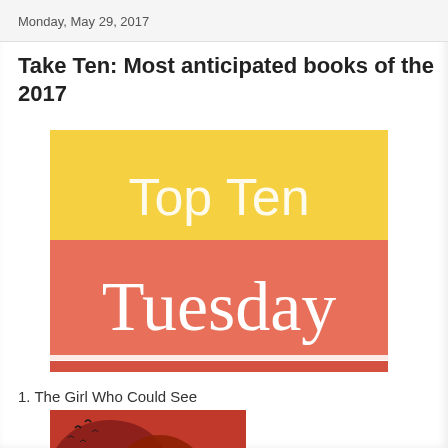Monday, May 29, 2017
Take Ten: Most anticipated books of the 2017
[Figure (illustration): Top Ten Tuesday logo: yellow upper half with white sans-serif text 'Top Ten', coral/salmon lower half with large white serif text 'Tuesday', thin white horizontal line near bottom, thin red border at very bottom]
1. The Girl Who Could See
[Figure (photo): Book cover of 'The Girl Who Could See' showing a woman's face with red/auburn hair against a smoky background, with birds flying in the upper left, and 'THE' text visible in white]